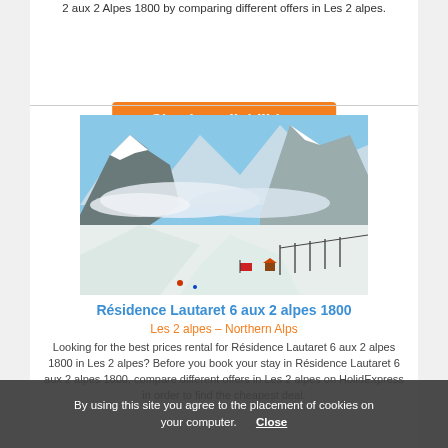2 aux 2 Alpes 1800 by comparing different offers in Les 2 alpes.
Check availabilities
[Figure (photo): Ski resort photo showing snowy mountain slopes with ski lifts, clouds, and clear blue sky at Les 2 Alpes]
Résidence Lautaret 6 aux 2 alpes 1800
Les 2 alpes – Northern Alps
Looking for the best prices rental for Résidence Lautaret 6 aux 2 alpes 1800 in Les 2 alpes? Before you book your stay in Résidence Lautaret 6 aux 2 alpes 1800, compare different offers in Les 2 alpes on HolidExpress in order to find the cheapest deal.
By using this site you agree to the placement of cookies on your computer. Close